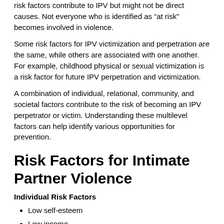risk factors contribute to IPV but might not be direct causes. Not everyone who is identified as “at risk” becomes involved in violence.
Some risk factors for IPV victimization and perpetration are the same, while others are associated with one another. For example, childhood physical or sexual victimization is a risk factor for future IPV perpetration and victimization.
A combination of individual, relational, community, and societal factors contribute to the risk of becoming an IPV perpetrator or victim. Understanding these multilevel factors can help identify various opportunities for prevention.
Risk Factors for Intimate Partner Violence
Individual Risk Factors
Low self-esteem
Low income
Low academic achievement
Young age